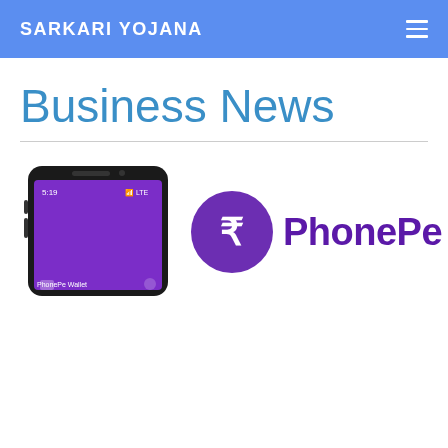SARKARI YOJANA
Business News
[Figure (screenshot): PhonePe app screenshot on a smartphone next to the PhonePe logo (purple circle with currency symbol and 'PhonePe' text)]